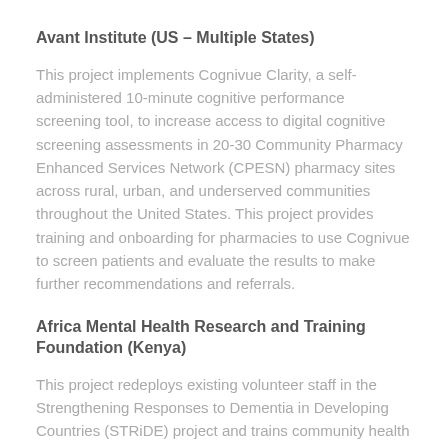Avant Institute (US – Multiple States)
This project implements Cognivue Clarity, a self-administered 10-minute cognitive performance screening tool, to increase access to digital cognitive screening assessments in 20-30 Community Pharmacy Enhanced Services Network (CPESN) pharmacy sites across rural, urban, and underserved communities throughout the United States. This project provides training and onboarding for pharmacies to use Cognivue to screen patients and evaluate the results to make further recommendations and referrals.
Africa Mental Health Research and Training Foundation (Kenya)
This project redeploys existing volunteer staff in the Strengthening Responses to Dementia in Developing Countries (STRiDE) project and trains community health workers to screen 2,400 people aged 60 and above. Workers are equipped with tablets to conduct the